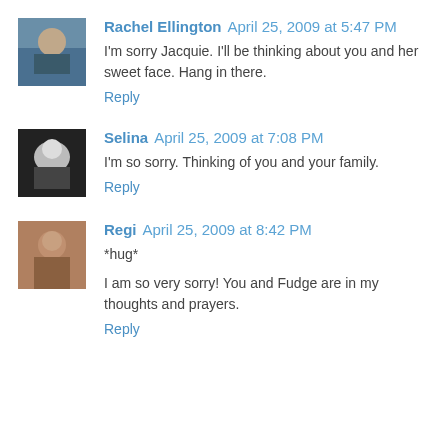Rachel Ellington April 25, 2009 at 5:47 PM
I'm sorry Jacquie. I'll be thinking about you and her sweet face. Hang in there.
Reply
Selina April 25, 2009 at 7:08 PM
I'm so sorry. Thinking of you and your family.
Reply
Regi April 25, 2009 at 8:42 PM
*hug*
I am so very sorry! You and Fudge are in my thoughts and prayers.
Reply